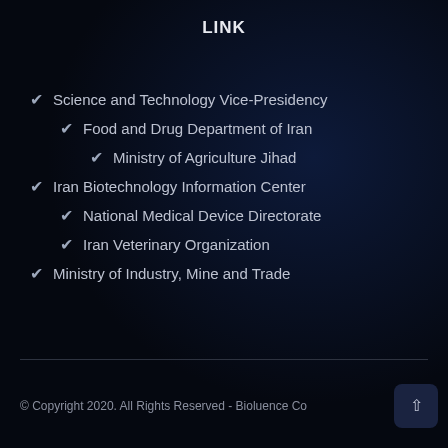LINK
Science and Technology Vice-Presidency
Food and Drug Department of Iran
Ministry of Agriculture Jihad
Iran Biotechnology Information Center
National Medical Device Directorate
Iran Veterinary Organization
Ministry of Industry, Mine and Trade
© Copyright 2020. All Rights Reserved - Bioluence Co